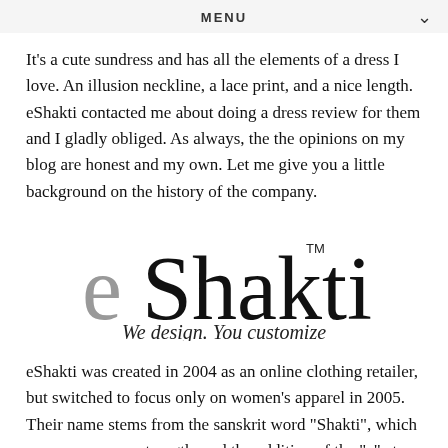MENU
It's a cute sundress and has all the elements of a dress I love. An illusion neckline, a lace print, and a nice length. eShakti contacted me about doing a dress review for them and I gladly obliged. As always, the the opinions on my blog are honest and my own. Let me give you a little background on the history of the company.
[Figure (logo): eShakti logo with text 'We design. You customize']
eShakti was created in 2004 as an online clothing retailer, but switched to focus only on women's apparel in 2005. Their name stems from the sanskrit word "Shakti", which means power or strength, and the addition of the "e" at the front symbolizes their belief in the power of the internet. The CEO of eShakti, B.G. Krishnan, wanted to explore the idea of "customclothing" over the internet. The idea b...